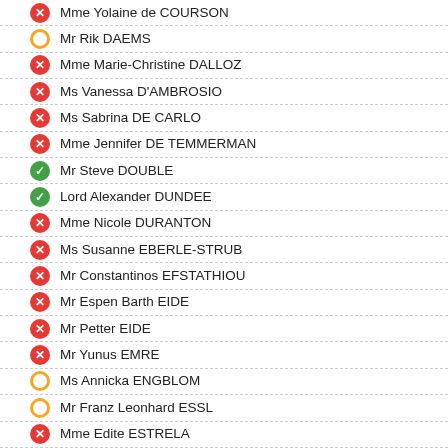Mme Yolaine de COURSON
Mr Rik DAEMS
Mme Marie-Christine DALLOZ
Ms Vanessa D'AMBROSIO
Ms Sabrina DE CARLO
Mme Jennifer DE TEMMERMAN
Mr Steve DOUBLE
Lord Alexander DUNDEE
Mme Nicole DURANTON
Ms Susanne EBERLE-STRUB
Mr Constantinos EFSTATHIOU
Mr Espen Barth EIDE
Mr Petter EIDE
Mr Yunus EMRE
Ms Annicka ENGBLOM
Mr Franz Leonhard ESSL
Mme Edite ESTRELA